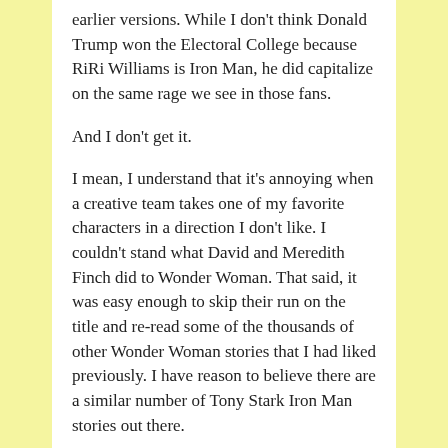earlier versions. While I don't think Donald Trump won the Electoral College because RiRi Williams is Iron Man, he did capitalize on the same rage we see in those fans.
And I don't get it.
I mean, I understand that it's annoying when a creative team takes one of my favorite characters in a direction I don't like. I couldn't stand what David and Meredith Finch did to Wonder Woman. That said, it was easy enough to skip their run on the title and re-read some of the thousands of other Wonder Woman stories that I had liked previously. I have reason to believe there are a similar number of Tony Stark Iron Man stories out there.
Also, there are lots and lots of other comics written and drawn by people who might have written or drawn a Tony Stark Iron Man story, and they might have stories about other characters that would appeal to this